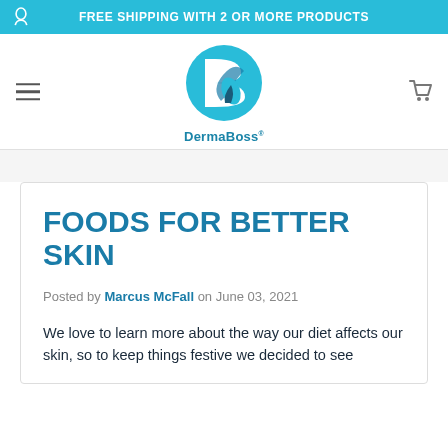FREE SHIPPING WITH 2 OR MORE PRODUCTS
[Figure (logo): DermaBoss logo - stylized letter B with teal leaf design]
FOODS FOR BETTER SKIN
Posted by Marcus McFall on June 03, 2021
We love to learn more about the way our diet affects our skin, so to keep things festive we decided to see